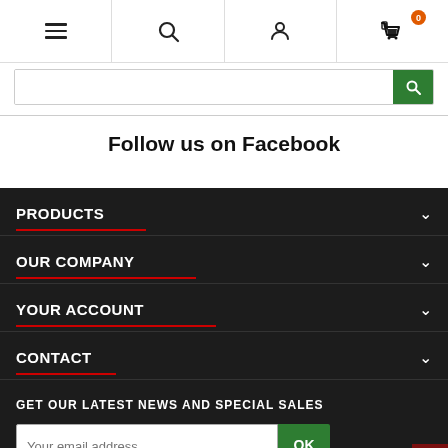Navigation bar with menu, search, account, and cart (0 items) icons
Follow us on Facebook
PRODUCTS
OUR COMPANY
YOUR ACCOUNT
CONTACT
GET OUR LATEST NEWS AND SPECIAL SALES
Your email address